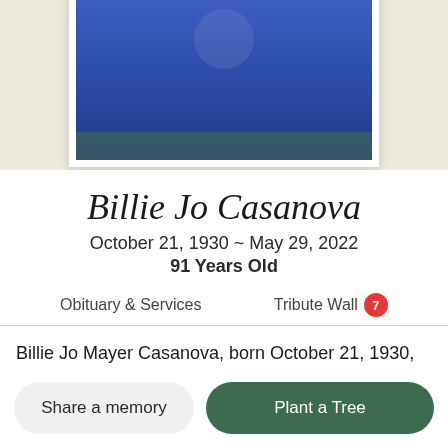[Figure (photo): Portrait photo of Billie Jo Casanova wearing a blue top, shown in a white-framed photo against a beige background]
Billie Jo Casanova
October 21, 1930 ~ May 29, 2022
91 Years Old
Obituary & Services    Tribute Wall 7
Billie Jo Mayer Casanova, born October 21, 1930, passed away on May 29th, 2022 at 91 years of age. She was the first Miss Opelousas and represented the Yambilee Festival before queens were chosen. Billie Jo
Share a memory
Plant a Tree